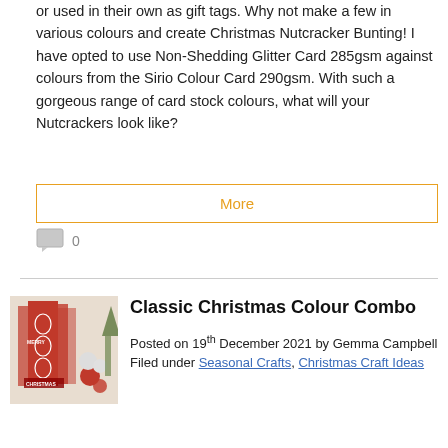or used in their own as gift tags. Why not make a few in various colours and create Christmas Nutcracker Bunting! I have opted to use Non-Shedding Glitter Card 285gsm against colours from the Sirio Colour Card 290gsm. With such a gorgeous range of card stock colours, what will your Nutcrackers look like?
More
0
Classic Christmas Colour Combo
Posted on 19th December 2021 by Gemma Campbell
Filed under Seasonal Crafts, Christmas Craft Ideas